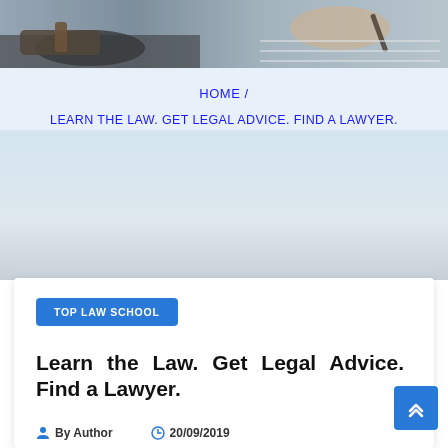[Figure (photo): Hero image showing a person writing with a pen on paper near a gavel on a desk]
HOME / LEARN THE LAW. GET LEGAL ADVICE. FIND A LAWYER.
TOP LAW SCHOOL
Learn the Law. Get Legal Advice. Find a Lawyer.
By Author   20/09/2019